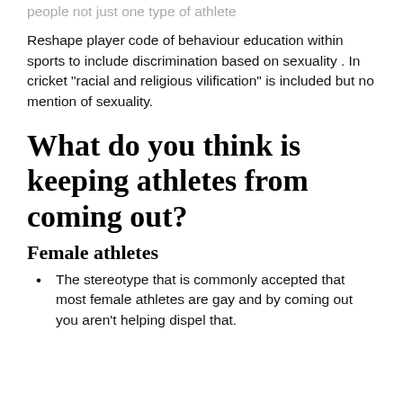people not just one type of athlete
Reshape player code of behaviour education within sports to include discrimination based on sexuality . In cricket “racial and religious vilification” is included but no mention of sexuality.
What do you think is keeping athletes from coming out?
Female athletes
The stereotype that is commonly accepted that most female athletes are gay and by coming out you aren’t helping dispel that.